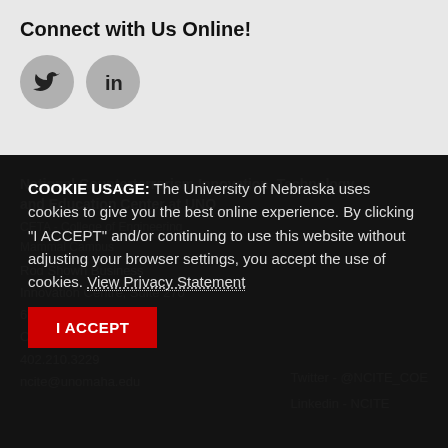Connect with Us Online!
[Figure (illustration): Twitter bird icon in a grey circle and LinkedIn 'in' icon in a grey circle]
National Counterterrorism Innovation, Technology, and Education Center at UNO
CETA - College of Engineering
Mammal Campus
Rod Shown Business Innovation Centre, Suite 270
6708 Pine Street –
Omaha, NE 68182
402.210.3229
ncite@unomaha.edu
Twitter - @NCITE_COE
Linkedin - NCITE
COOKIE USAGE: The University of Nebraska uses cookies to give you the best online experience. By clicking “I ACCEPT” and/or continuing to use this website without adjusting your browser settings, you accept the use of cookies. View Privacy Statement
I ACCEPT